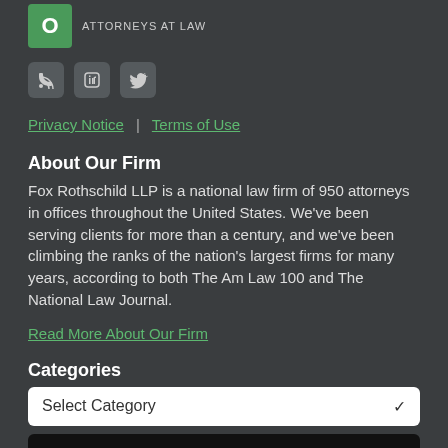[Figure (logo): Fox Rothschild LLP logo - green rounded square with white O, text ATTORNEYS AT LAW]
[Figure (infographic): Social media icons: RSS feed, LinkedIn, Twitter]
Privacy Notice | Terms of Use
About Our Firm
Fox Rothschild LLP is a national law firm of 950 attorneys in offices throughout the United States. We've been serving clients for more than a century, and we've been climbing the ranks of the nation's largest firms for many years, according to both The Am Law 100 and The National Law Journal.
Read More About Our Firm
Categories
Select Category
Submit